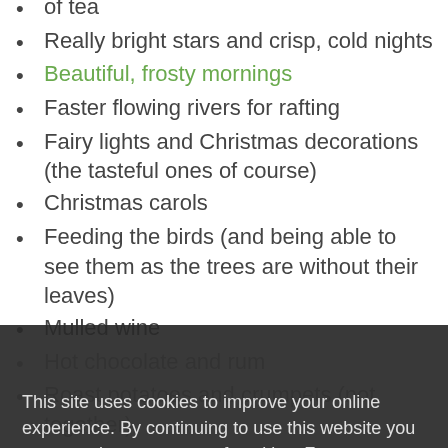of tea
Really bright stars and crisp, cold nights
Beautiful, frosty mornings
Faster flowing rivers for rafting
Fairy lights and Christmas decorations (the tasteful ones of course)
Christmas carols
Feeding the birds (and being able to see them as the trees are without their leaves)
Mulled wine
Hot chocolate and rum
Roast potatoes and crumpets (not together)
Lighting the fire
Sitting around and relishing the prospect of not having to go out anywhere
Pyjamas and camping in the sitting room by the fire
Hibernating in the garden
Snowdrops, crocuses and daffodils
This site uses cookies to improve your online experience. By continuing to use this website you are agreeing to our use of cookies. For more information, see our Privacy Policy.